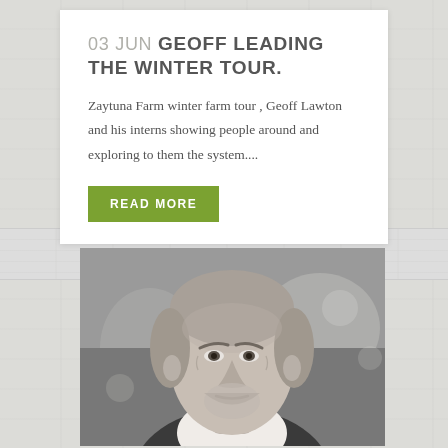03 JUN GEOFF LEADING THE WINTER TOUR.
Zaytuna Farm winter farm tour , Geoff Lawton and his interns showing people around and exploring to them the system....
READ MORE
[Figure (photo): Black and white portrait photo of an older man with grey hair and beard, looking directly at the camera, in a candid style.]